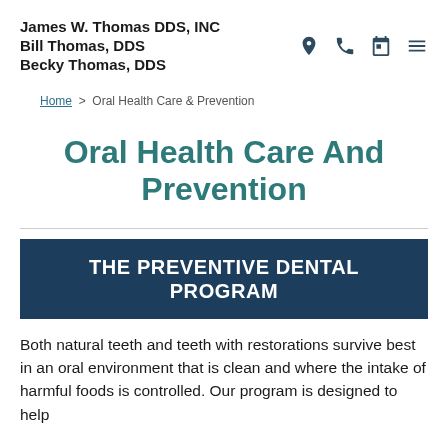James W. Thomas DDS, INC
Bill Thomas, DDS
Becky Thomas, DDS
Home > Oral Health Care & Prevention
Oral Health Care And Prevention
THE PREVENTIVE DENTAL PROGRAM
Both natural teeth and teeth with restorations survive best in an oral environment that is clean and where the intake of harmful foods is controlled. Our program is designed to help…